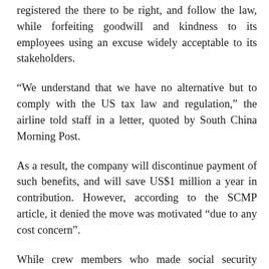registered the there to be right, and follow the law, while forfeiting goodwill and kindness to its employees using an excuse widely acceptable to its stakeholders.
“We understand that we have no alternative but to comply with the US tax law and regulation,” the airline told staff in a letter, quoted by South China Morning Post.
As a result, the company will discontinue payment of such benefits, and will save US$1 million a year in contribution. However, according to the SCMP article, it denied the move was motivated “due to any cost concern”.
While crew members who made social security contributions over the past years could opt to withdraw them — forgoing their eligibility for benefits — employees needed at least 10 years of contribution to draw benefits, said the US Association of Flight Attendants.